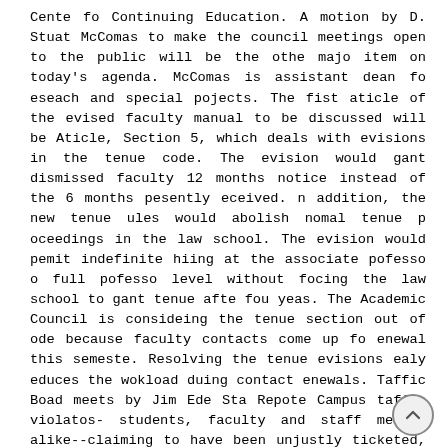Cente fo Continuing Education. A motion by D. Stuat McComas to make the council meetings open to the public will be the othe majo item on today's agenda. McComas is assistant dean fo eseach and special pojects. The fist aticle of the evised faculty manual to be discussed will be Aticle, Section 5, which deals with evisions in the tenue code. The evision would gant dismissed faculty 12 months notice instead of the 6 months pesently eceived. n addition, the new tenue ules would abolish nomal tenue p oceedings in the law school. The evision would pemit indefinite hiing at the associate pofesso o full pofesso level without focing the law school to gant tenue afte fou yeas. The Academic Council is consideing the tenue section out of ode because faculty contacts come up fo enewal this semeste. Resolving the tenue evisions ealy educes the wokload duing contact enewals. Taffic Boad meets by Jim Ede Sta Repote Campus taffic violatos- students, faculty and staff membes alike--claiming to have been unjustly ticketed, must now submit a witten appeal to the new five-man campus-wide Taffic Appeals Boad. This single appellate boad, epesenting each of the fou majo goups on campus, is designed to eplace all the individual boads that fo elo del a e e ine d in a numb e of thei...